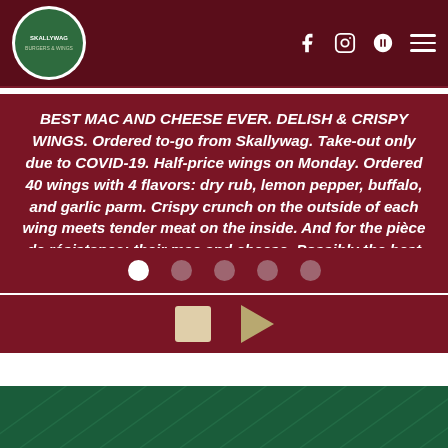Skallywag - navigation header with logo and social icons
BEST MAC AND CHEESE EVER. DELISH & CRISPY WINGS. Ordered to-go from Skallywag. Take-out only due to COVID-19. Half-price wings on Monday. Ordered 40 wings with 4 flavors: dry rub, lemon pepper, buffalo, and garlic parm. Crispy crunch on the outside of each wing meets tender meat on the inside. And for the pièce de résistance: their mac and cheese. Possibly the best I've ever had in my life...
[Figure (other): Carousel navigation dots - 5 dots, first one white/active, rest gray]
[Figure (other): Media controls: stop button (square) and play button (triangle)]